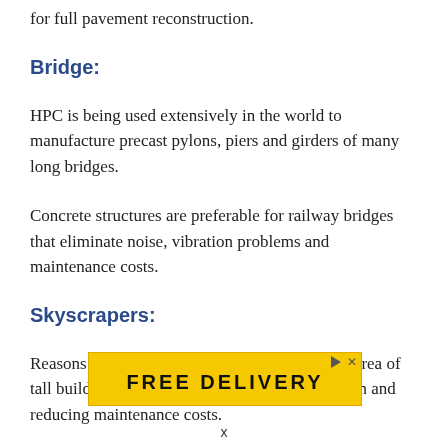for full pavement reconstruction.
Bridge:
HPC is being used extensively in the world to manufacture precast pylons, piers and girders of many long bridges.
Concrete structures are preferable for railway bridges that eliminate noise, vibration problems and maintenance costs.
Skyscrapers:
Reasons for using high strength concrete in the area of tall buildings are dead loads, deflection, vibration and reducing maintenance costs.
[Figure (other): Advertisement banner with yellow background showing partial text]
x